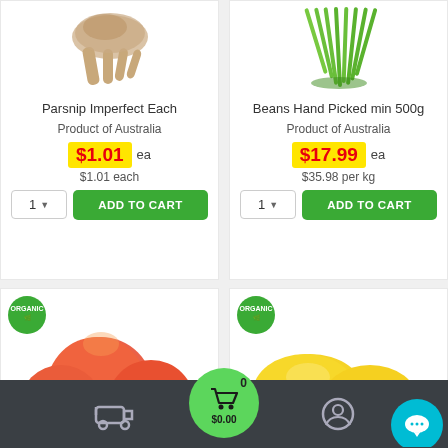[Figure (photo): Parsnip product image (cropped, top portion of parsnip/root vegetable on white background)]
Parsnip Imperfect Each
Product of Australia
$1.01 ea
$1.01 each
ADD TO CART
[Figure (photo): Beans Hand Picked product image (green beans/chives on white background)]
Beans Hand Picked min 500g
Product of Australia
$17.99 ea
$35.98 per kg
ADD TO CART
[Figure (photo): Organic peaches product image with organic badge, bottom card left]
[Figure (photo): Organic lemons product image with organic badge, bottom card right]
0  $0.00